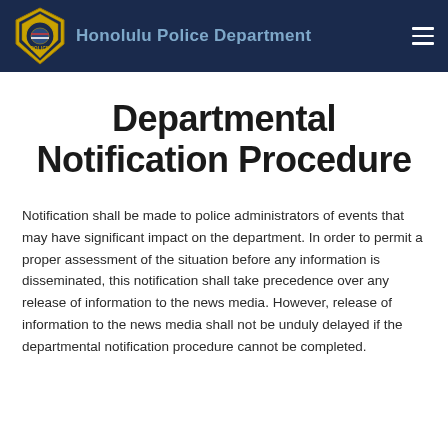Honolulu Police Department
Departmental Notification Procedure
Notification shall be made to police administrators of events that may have significant impact on the department. In order to permit a proper assessment of the situation before any information is disseminated, this notification shall take precedence over any release of information to the news media. However, release of information to the news media shall not be unduly delayed if the departmental notification procedure cannot be completed.